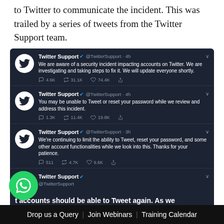to Twitter to communicate the incident. This was trailed by a series of tweets from the Twitter Support team.
[Figure (screenshot): Dark-mode screenshot of Twitter showing four tweets from @TwitterSupport about a security incident. Tweet 1: 'We are aware of a security incident impacting accounts on Twitter. We are investigating and taking steps to fix it. We will update everyone shortly.' (4.6K replies, 31.1K retweets, 74.4K likes). Tweet 2: 'You may be unable to Tweet or reset your password while we review and address this incident.' (1.3K replies, 11.4K retweets, 19.8K likes). Tweet 3: 'We're continuing to limit the ability to Tweet, reset your password, and some other account functionalities while we look into this. Thanks for your patience.' (511 replies, 4.7K retweets, 9.6K likes). Tweet 4 (partial): '@TwitterSupport / ...accounts should be able to Tweet again. As we ...inue working on a fix, this functionality may come']
Drop us a Query  |  Join Webinars  |  Training Calendar